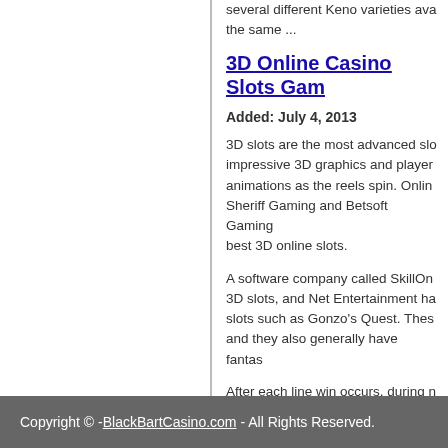several different Keno varieties ava... the same ...
3D Online Casino Slots Gam...
Added: July 4, 2013
3D slots are the most advanced slo... impressive 3D graphics and player... animations as the reels spin. Onlin... Sheriff Gaming and Betsoft Gaming... best 3D online slots.
A software company called SkillOn... 3D slots, and Net Entertainment ha... slots such as Gonzo's Quest. Thes... and they also generally have fantas...
After each line win occurs, during n...
Copyright © - BlackBartCasino.com - All Rights Reserved.